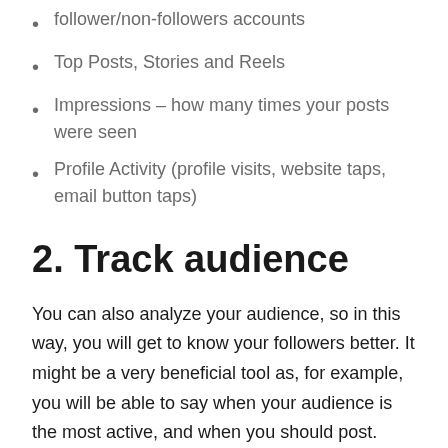follower/non-followers accounts
Top Posts, Stories and Reels
Impressions – how many times your posts were seen
Profile Activity (profile visits, website taps, email button taps)
2. Track audience
You can also analyze your audience, so in this way, you will get to know your followers better. It might be a very beneficial tool as, for example, you will be able to say when your audience is the most active, and when you should post. Within this category, you will be able to check: